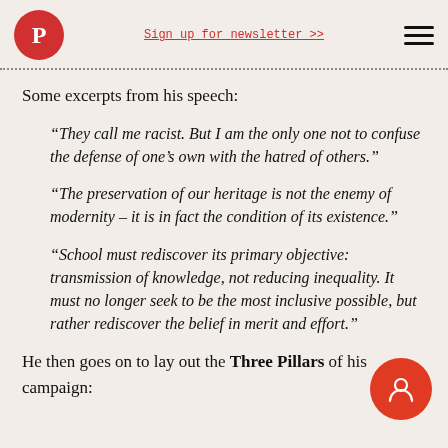Sign up for newsletter >>
Some excerpts from his speech:
“They call me racist. But I am the only one not to confuse the defense of one’s own with the hatred of others.”
“The preservation of our heritage is not the enemy of modernity – it is in fact the condition of its existence.”
“School must rediscover its primary objective: transmission of knowledge, not reducing inequality. It must no longer seek to be the most inclusive possible, but rather rediscover the belief in merit and effort.”
He then goes on to lay out the Three Pillars of his campaign: